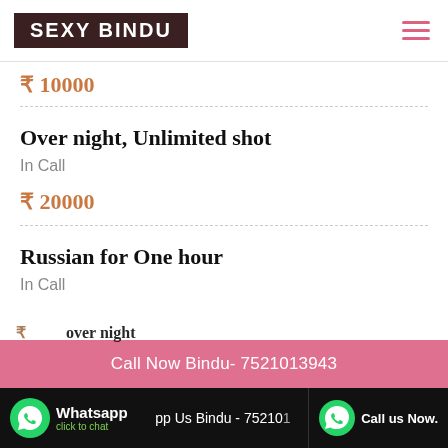SEXY BINDU
₹ 10000
Over night, Unlimited shot
In Call
₹ 20000
Russian for One hour
In Call
Call Now Bindu- 7521013943
Whatsapp  click to chat   Whatsapp Us Bindu - 7521013943   Call us Now.